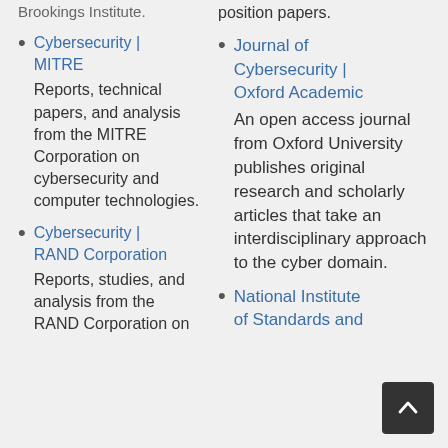position papers.
Cybersecurity | MITRE — Reports, technical papers, and analysis from the MITRE Corporation on cybersecurity and computer technologies.
Cybersecurity | RAND Corporation — Reports, studies, and analysis from the RAND Corporation on cybersecurity.
Journal of Cybersecurity | Oxford Academic — An open access journal from Oxford University publishes original research and scholarly articles that take an interdisciplinary approach to the cyber domain.
National Institute of Standards and